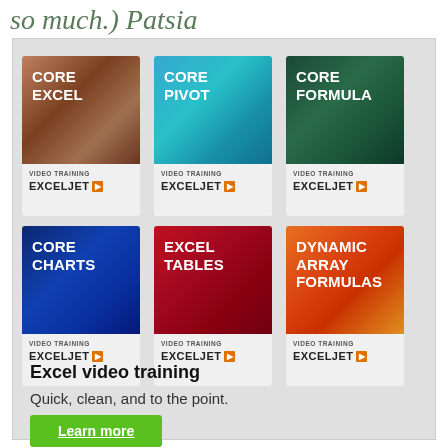so much.) Patsia
[Figure (infographic): Six Exceljet video training course cards arranged in a 3x2 grid: Core Excel, Core Pivot, Core Formula, Core Charts, Excel Tables, Dynamic Array Formulas]
Excel video training
Quick, clean, and to the point.
Learn more